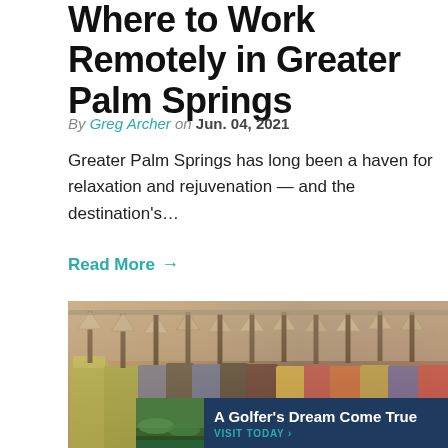Where to Work Remotely in Greater Palm Springs
By Greg Archer on Jun. 04, 2021
Greater Palm Springs has long been a haven for relaxation and rejuvenation — and the destination's…
Read More →
[Figure (photo): Close-up photo of colorful clothes hanging on racks with wooden and black hangers in a clothing store]
A Golfer's Dream Come True VISIT TODAY >